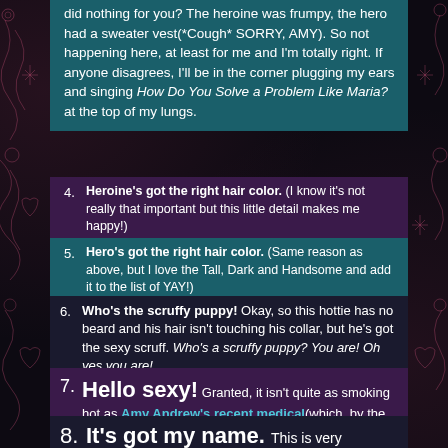did nothing for you? The heroine was frumpy, the hero had a sweater vest(*Cough* SORRY, AMY). So not happening here, at least for me and I'm totally right. If anyone disagrees, I'll be in the corner plugging my ears and singing How Do You Solve a Problem Like Maria? at the top of my lungs.
4. Heroine's got the right hair color. (I know it's not really that important but this little detail makes me happy!)
5. Hero's got the right hair color. (Same reason as above, but I love the Tall, Dark and Handsome and add it to the list of YAY!)
6. Who's the scruffy puppy! Okay, so this hottie has no beard and his hair isn't touching his collar, but he's got the sexy scruff. Who's a scruffy puppy? You are! Oh yes you are!
7. Hello sexy! Granted, it isn't quite as smoking hot as Amy Andrew's recent medical (which, by the way, is an awesome read and the reason I don't feel bad about mentioning the sweater vest debacle). I could not ask for more. *dreamysigh*
8. It's got my name.  This is very important*